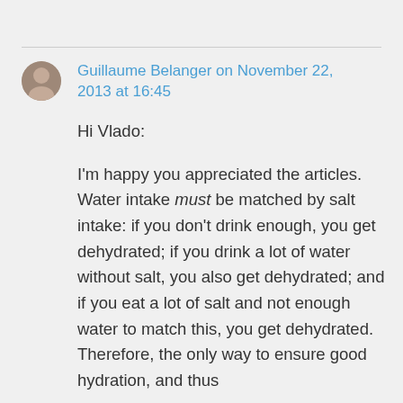Guillaume Belanger on November 22, 2013 at 16:45
Hi Vlado:

I'm happy you appreciated the articles. Water intake must be matched by salt intake: if you don't drink enough, you get dehydrated; if you drink a lot of water without salt, you also get dehydrated; and if you eat a lot of salt and not enough water to match this, you get dehydrated. Therefore, the only way to ensure good hydration, and thus